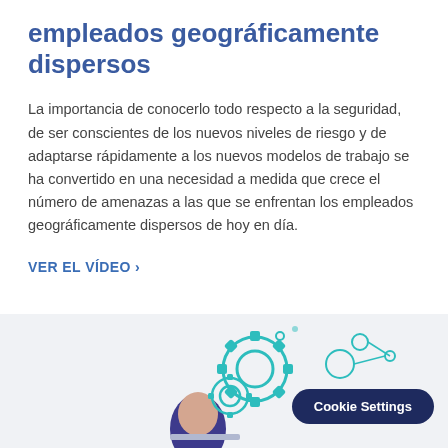empleados geográficamente dispersos
La importancia de conocerlo todo respecto a la seguridad, de ser conscientes de los nuevos niveles de riesgo y de adaptarse rápidamente a los nuevos modelos de trabajo se ha convertido en una necesidad a medida que crece el número de amenazas a las que se enfrentan los empleados geográficamente dispersos de hoy en día.
VER EL VÍDEO ›
[Figure (illustration): Illustration of a person at a computer with gear icons and network/connectivity icons in teal/cyan colors, partially visible at bottom of page. A 'Cookie Settings' button overlay appears in dark navy blue.]